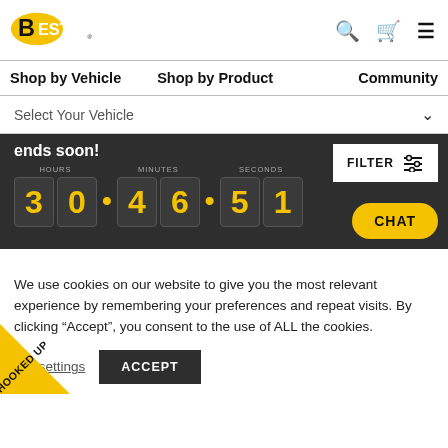[Figure (logo): Bestop logo - yellow oval with black B and white ESTOP text]
Shop by Vehicle  Shop by Product  Community
Select Your Vehicle
ends soon!  HOURS 30 : MINUTES 46 : SECONDS 51
FILTER
CHAT
We use cookies on our website to give you the most relevant experience by remembering your preferences and repeat visits. By clicking “Accept”, you consent to the use of ALL the cookies.
settings
ACCEPT
GET HOOKED UP